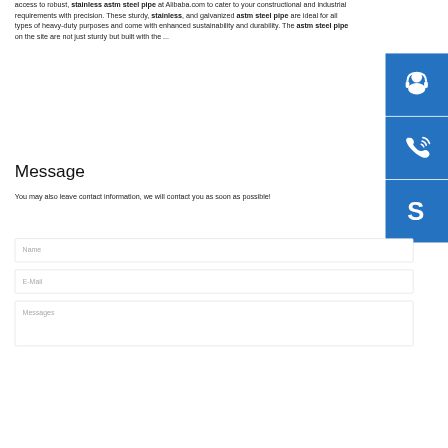access to robust, stainless astm steel pipe at Alibaba.com to cater to your constructional and industrial requirements with precision. These sturdy, stainless, and galvanized astm steel pipe are ideal for all types of heavy-duty purposes and come with enhanced sustainability and durability. The astm steel pipe on the site are not just sturdy but built with the ...
[Figure (illustration): Three blue icon buttons stacked vertically: a customer support headset icon, a phone/call icon with signal waves, and a Skype logo icon.]
Message
You may also leave contact information, we will contact you as soon as possible!
Name
E-Mail
Messages